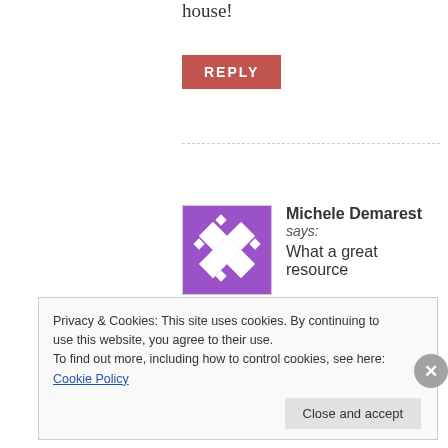house!
REPLY
Michele Demarest says: What a great resource for apraxia-
February 2, 2015 at 5:48 am
I'll be sharing this with almost my
Privacy & Cookies: This site uses cookies. By continuing to use this website, you agree to their use. To find out more, including how to control cookies, see here: Cookie Policy
Close and accept